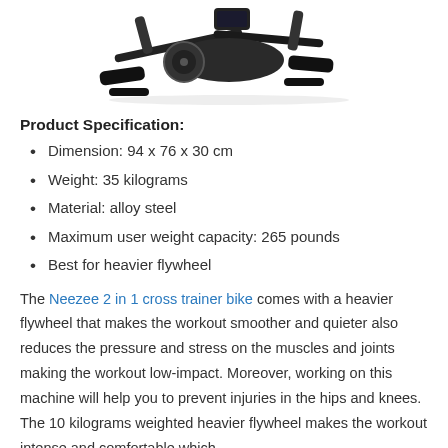[Figure (photo): Product photo of a cross trainer exercise bike (elliptical/stepper machine) shown from above at an angle, predominantly black metal frame with pedals and handlebars.]
Product Specification:
Dimension: 94 x 76 x 30 cm
Weight: 35 kilograms
Material: alloy steel
Maximum user weight capacity: 265 pounds
Best for heavier flywheel
The Neezee 2 in 1 cross trainer bike comes with a heavier flywheel that makes the workout smoother and quieter also reduces the pressure and stress on the muscles and joints making the workout low-impact. Moreover, working on this machine will help you to prevent injuries in the hips and knees. The 10 kilograms weighted heavier flywheel makes the workout intense and comfortable which